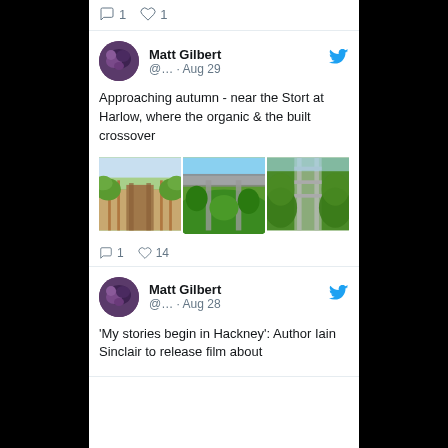[Figure (screenshot): Twitter/social media feed screenshot showing tweets by Matt Gilbert. First visible tweet shows comment icon (1) and heart icon (1). Second tweet from Matt Gilbert dated Aug 29 reads 'Approaching autumn - near the Stort at Harlow, where the organic & the built crossover' with three nature/bridge photos, comment count 1 and heart count 14. Third tweet from Matt Gilbert dated Aug 28 reads 'My stories begin in Hackney': Author Iain Sinclair to release film about' (cut off).]